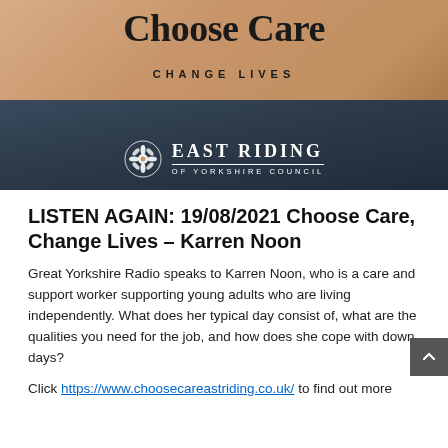[Figure (photo): Choose Care Change Lives campaign image showing hands being held, with East Riding of Yorkshire Council logo overlay. Large serif text reads 'Choose Care' at top and 'CHANGE LIVES' in spaced capitals below.]
LISTEN AGAIN: 19/08/2021 Choose Care, Change Lives – Karren Noon
Great Yorkshire Radio speaks to Karren Noon, who is a care and support worker supporting young adults who are living independently. What does her typical day consist of, what are the qualities you need for the job, and how does she cope with down days?
Click https://www.choosecareastriding.co.uk/ to find out more